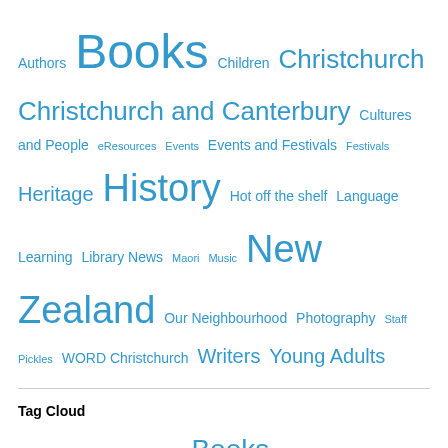[Figure (other): Category tag cloud with varying font sizes. Tags include: Authors, Books, Children, Christchurch, Christchurch and Canterbury, Cultures and People, eResources, Events, Events and Festivals, Festivals, Heritage, History, Hot off the shelf, Language, Learning, Library News, Maori, Music, New Zealand, Our Neighbourhood, Photography, Staff Pickles, WORD Christchurch, Writers, Young Adults]
Tag Cloud
[Figure (other): Tag cloud with varying font sizes. Tags include: Authors, Bernice, book covers, Books, bronnypop, Canterbury, ccliotw, cclpickles, Children, Christchurch, Donna, eResources, Fiction, Finnerty75, heritage, History, jane, kids, Maori]